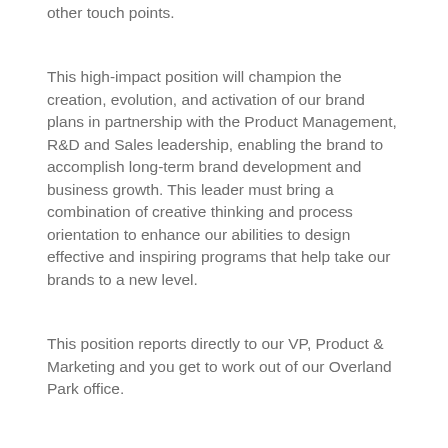other touch points.
This high-impact position will champion the creation, evolution, and activation of our brand plans in partnership with the Product Management, R&D and Sales leadership, enabling the brand to accomplish long-term brand development and business growth. This leader must bring a combination of creative thinking and process orientation to enhance our abilities to design effective and inspiring programs that help take our brands to a new level.
This position reports directly to our VP, Product & Marketing and you get to work out of our Overland Park office.